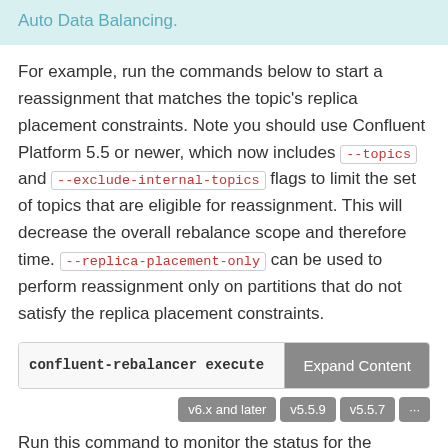Auto Data Balancing.
For example, run the commands below to start a reassignment that matches the topic's replica placement constraints. Note you should use Confluent Platform 5.5 or newer, which now includes --topics and --exclude-internal-topics flags to limit the set of topics that are eligible for reassignment. This will decrease the overall rebalance scope and therefore time. --replica-placement-only can be used to perform reassignment only on partitions that do not satisfy the replica placement constraints.
confluent-rebalancer execute
Expand Content
v6.x and later  v5.5.9  v5.5.7  ...
Run this command to monitor the status for the